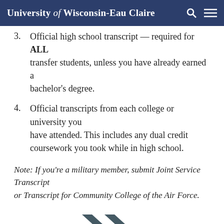University of Wisconsin-Eau Claire
3. Official high school transcript — required for ALL transfer students, unless you have already earned a bachelor's degree.
4. Official transcripts from each college or university you have attended. This includes any dual credit coursework you took while in high school.
Note: If you’re a military member, submit Joint Service Transcript or Transcript for Community College of the Air Force.
[Figure (illustration): Double chevron / forward arrows icon in dark slate color, pointing right]
Already Accepted?